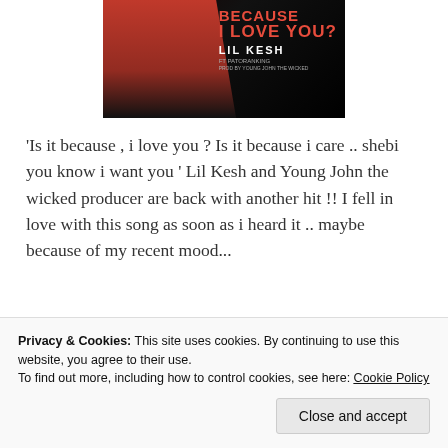[Figure (photo): Album art for 'Because I Love You' by Lil Kesh ft Patoranking, produced by Young John the Wicked Producer. Dark background with red text and artist figure in red.]
'Is it because , i love you ? Is it because i care .. shebi you know i want you ' Lil Kesh and Young John the wicked producer are back with another hit !! I fell in love with this song as soon as i heard it .. maybe because of my recent mood...
Continue Reading →
Privacy & Cookies: This site uses cookies. By continuing to use this website, you agree to their use.
To find out more, including how to control cookies, see here: Cookie Policy
Close and accept